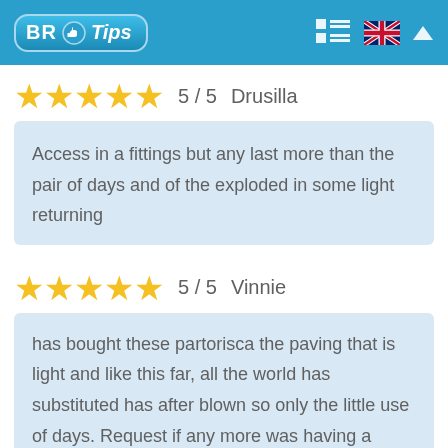BR Tips
5 / 5  Drusilla
Access in a fittings but any last more than the pair of days and of the exploded in some light returning
5 / 5  Vinnie
has bought these partorisca the paving that is light and like this far, all the world has substituted has after blown so only the little use of days. Request if any more was having a same question?